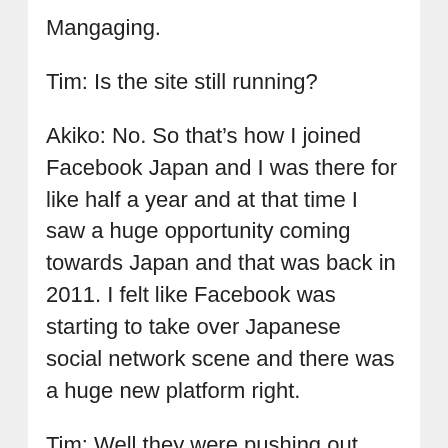Mangaging.
Tim: Is the site still running?
Akiko: No. So that’s how I joined Facebook Japan and I was there for like half a year and at that time I saw a huge opportunity coming towards Japan and that was back in 2011. I felt like Facebook was starting to take over Japanese social network scene and there was a huge new platform right.
Tim: Well they were pushing out Mixi very quickly.